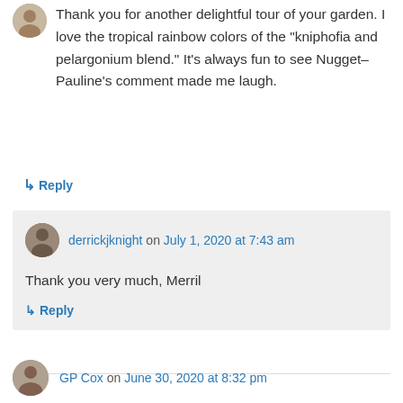Thank you for another delightful tour of your garden. I love the tropical rainbow colors of the "kniphofia and pelargonium blend." It's always fun to see Nugget–Pauline's comment made me laugh.
↳ Reply
derrickjknight on July 1, 2020 at 7:43 am
Thank you very much, Merril
↳ Reply
GP Cox on June 30, 2020 at 8:32 pm